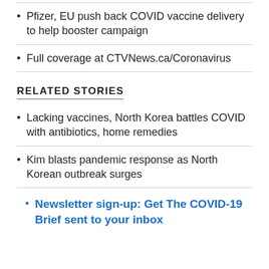Pfizer, EU push back COVID vaccine delivery to help booster campaign
Full coverage at CTVNews.ca/Coronavirus
RELATED STORIES
Lacking vaccines, North Korea battles COVID with antibiotics, home remedies
Kim blasts pandemic response as North Korean outbreak surges
Newsletter sign-up: Get The COVID-19 Brief sent to your inbox